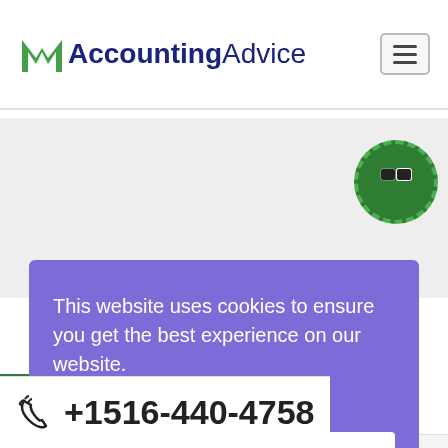[Figure (logo): AccountingAdvice logo with green M icon and dark blue text]
website advertisement only. We claim no interference with any organization.
This website uses cookies to ensure you get the best experience on our website.
Learn more
Got it
Write Comp
Sage 50 Payroll Support Number   Sage Time
+1516-440-4758